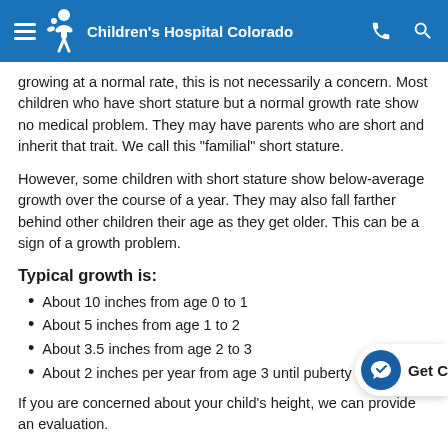Children's Hospital Colorado
growing at a normal rate, this is not necessarily a concern. Most children who have short stature but a normal growth rate show no medical problem. They may have parents who are short and inherit that trait. We call this "familial" short stature.
However, some children with short stature show below-average growth over the course of a year. They may also fall farther behind other children their age as they get older. This can be a sign of a growth problem.
Typical growth is:
About 10 inches from age 0 to 1
About 5 inches from age 1 to 2
About 3.5 inches from age 2 to 3
About 2 inches per year from age 3 until puberty
If you are concerned about your child's height, we can provide an evaluation.